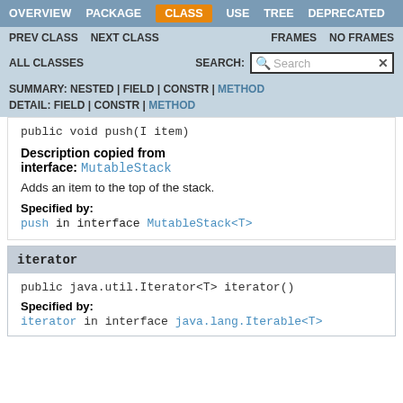OVERVIEW  PACKAGE  CLASS  USE  TREE  DEPRECATED
PREV CLASS  NEXT CLASS  FRAMES  NO FRAMES
ALL CLASSES  SEARCH:  [Search box]
SUMMARY: NESTED | FIELD | CONSTR | METHOD  DETAIL: FIELD | CONSTR | METHOD
public void push(I item)
Description copied from interface: MutableStack
Adds an item to the top of the stack.
Specified by:
push in interface MutableStack<T>
iterator
public java.util.Iterator<T> iterator()
Specified by:
iterator in interface java.lang.Iterable<T>